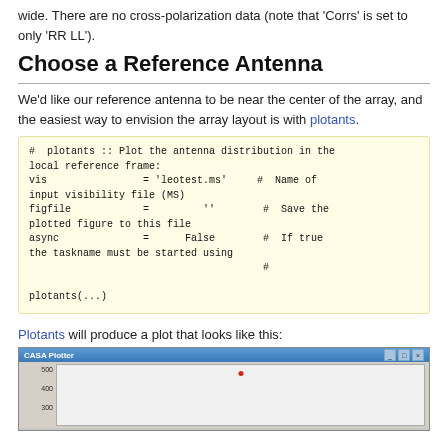wide. There are no cross-polarization data (note that 'Corrs' is set to only 'RR LL').
Choose a Reference Antenna
We'd like our reference antenna to be near the center of the array, and the easiest way to envision the array layout is with plotants.
#  plotants :: Plot the antenna distribution in the local reference frame:
vis                = 'leotest.ms'     #  Name of input visibility file (MS)
figfile            =         ''        #  Save the plotted figure to this file
async              =      False        #  If true the taskname must be started using
                                       #
plotants(...)
Plotants will produce a plot that looks like this:
[Figure (screenshot): CASA Plotter window showing an antenna distribution plot with a white plot area on a grey background. A red dot marks a data point near the top center of the plot area. Y-axis labels show values 500, 400, 300.]